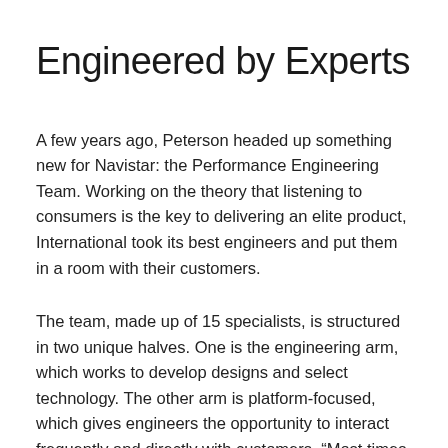Engineered by Experts
A few years ago, Peterson headed up something new for Navistar: the Performance Engineering Team. Working on the theory that listening to consumers is the key to delivering an elite product, International took its best engineers and put them in a room with their customers.
The team, made up of 15 specialists, is structured in two unique halves. One is the engineering arm, which works to develop designs and select technology. The other arm is platform-focused, which gives engineers the opportunity to interact frequently and directly with customers. “Most times engineers are isolated,” Peterson says. “They don’t get to